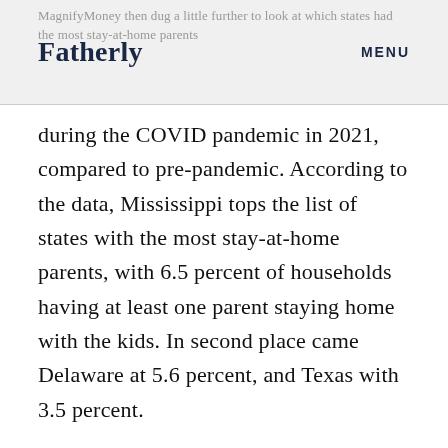MagnifyMoney then dug a little further to look at which states had the most stay-at-home parents
Fatherly
MENU
during the COVID pandemic in 2021, compared to pre-pandemic. According to the data, Mississippi tops the list of states with the most stay-at-home parents, with 6.5 percent of households having at least one parent staying home with the kids. In second place came Delaware at 5.6 percent, and Texas with 3.5 percent.
ADVERTISEMENT